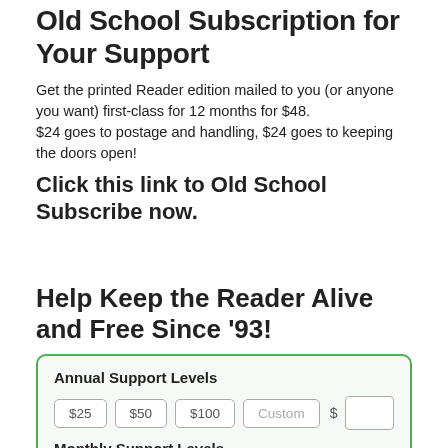Old School Subscription for Your Support
Get the printed Reader edition mailed to you (or anyone you want) first-class for 12 months for $48.
$24 goes to postage and handling, $24 goes to keeping the doors open!
Click this link to Old School Subscribe now.
Help Keep the Reader Alive and Free Since '93!
| Annual Support Levels |
| --- |
| $25 | $50 | $100 | Custom | $ | (input) |
Monthly Support Levels